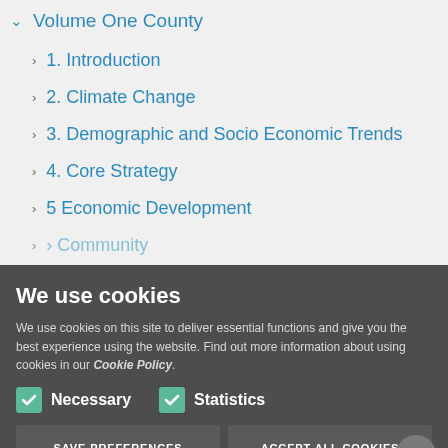Volume One County
1. Introduction
2. Climate Change
3. Demographic and Socio Economic Trends
4. Core Strategy
5 Economic Development
6. Housing and Community
7. Rural Development
PRIVACY SETTINGS
We use cookies
We use cookies on this site to deliver essential functions and give you the best experience using the website. Find out more information about using cookies in our Cookie Policy.
Necessary
Statistics
SAVE PREFERENCES
ACCEPT ALL COOKIES